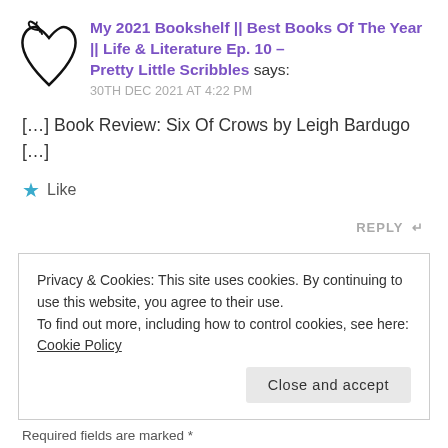[Figure (logo): Heart-shaped logo/avatar drawn in calligraphy style]
My 2021 Bookshelf || Best Books Of The Year || Life & Literature Ep. 10 – Pretty Little Scribbles says:
30TH DEC 2021 AT 4:22 PM
[…] Book Review: Six Of Crows by Leigh Bardugo […]
★ Like
REPLY ↩
Privacy & Cookies: This site uses cookies. By continuing to use this website, you agree to their use.
To find out more, including how to control cookies, see here: Cookie Policy
Close and accept
Required fields are marked *